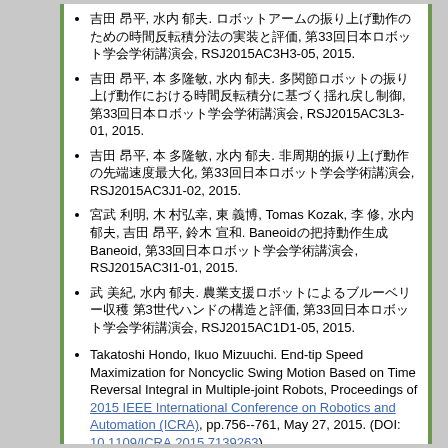吉田 昂平, 水内 郁夫. ロボットアームの振り上げ動作のための時間反転積分法の実装と評価, 第33回日本ロボット学会学術講演会, RSJ2015AC3H3-05, 2015.
吉田 昂平, 本 多隆敏, 水内 郁夫. 多関節ロボットの振り上げ動作における時間反転積分に基づく揺れ戻し制御, 第33回日本ロボット学会学術講演会, RSJ2015AC3L3-01, 2015.
吉田 昂平, 本 多隆敏, 水内 郁夫. 非周期的振り上げ動作の先端速度最大化, 第33回日本ロボット学会学術講演会, RSJ2015AC3J1-02, 2015.
宮武 利明, 木 村弘幸, 東 義博, Tomas Kozak, 李 修, 水内 郁夫, 吉田 昂平, 鈴木 宣和. Baneoidの把持動作生成 Baneoid, 第33回日本ロボット学会学術講演会, RSJ2015AC3I1-01, 2015.
武 美紀, 水内 郁夫. 農業支援ロボットによるブルーベリー収穫 第3世代ハンドの構造と評価, 第33回日本ロボット学会学術講演会, RSJ2015AC1D1-05, 2015.
Takatoshi Hondo, Ikuo Mizuuchi. End-tip Speed Maximization for Noncyclic Swing Motion Based on Time Reversal Integral in Multiple-joint Robots, Proceedings of 2015 IEEE International Conference on Robotics and Automation (ICRA), pp.756--761, May 27, 2015. (DOI: 10.1109/ICRA.2015.7139263)
Ikuo Mizuuchi, Masato Yuasa, Jumpei Kuniyoshi, Yuya Yumoto. Applying Robotics Technologies to Agriculture -- Blueberry Harvesting, Plant-Pot Robot, and Fruit Identification --, in ICT-Asia 2015, Laguna, Philippines, May 26, 2015.